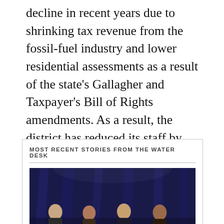decline in recent years due to shrinking tax revenue from the fossil-fuel industry and lower residential assessments as a result of the state's Gallagher and Taxpayer's Bill of Rights amendments. As a result, the district has reduced its staff by four positions, suspended a grant program and reduced its vehicle fleet.
MOST RECENT STORIES FROM THE WATER DESK
[Figure (photo): Panel discussion on a stage with four people seated in front of a blue curtain/drape backdrop, photographed at an event or conference.]